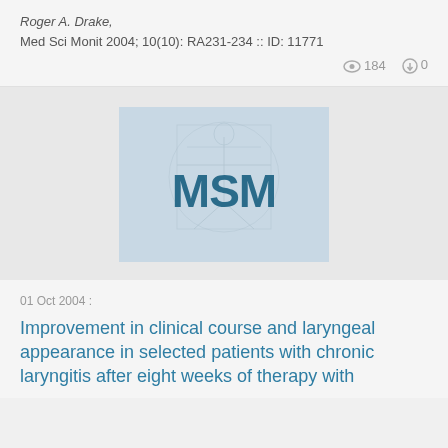Roger A. Drake,
Med Sci Monit 2004; 10(10): RA231-234 :: ID: 11771
👁 184   ⬇ 0
[Figure (logo): MSM journal cover image showing Vitruvian Man sketch in light blue/grey tones with bold dark teal 'MSM' text overlay]
01 Oct 2004 :
Improvement in clinical course and laryngeal appearance in selected patients with chronic laryngitis after eight weeks of therapy with